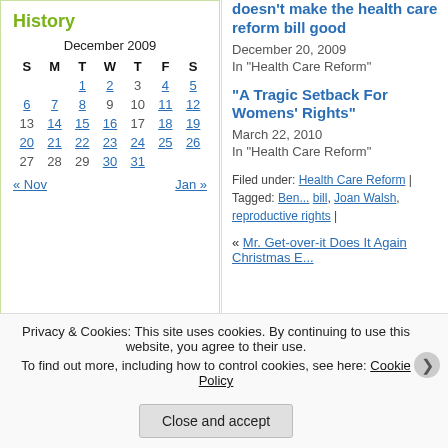History
| S | M | T | W | T | F | S |
| --- | --- | --- | --- | --- | --- | --- |
|  |  | 1 | 2 | 3 | 4 | 5 |
| 6 | 7 | 8 | 9 | 10 | 11 | 12 |
| 13 | 14 | 15 | 16 | 17 | 18 | 19 |
| 20 | 21 | 22 | 23 | 24 | 25 | 26 |
| 27 | 28 | 29 | 30 | 31 |  |  |
« Nov   Jan »
Paul Krugman: Conscience of a
doesn't make the health care reform bill good
December 20, 2009
In "Health Care Reform"
"A Tragic Setback For Womens' Rights"
March 22, 2010
In "Health Care Reform"
Filed under: Health Care Reform | Tagged: Ben... bill, Joan Walsh, reproductive rights |
« Mr. Get-over-it Does It Again   Christmas E...
Privacy & Cookies: This site uses cookies. By continuing to use this website, you agree to their use.
To find out more, including how to control cookies, see here: Cookie Policy
Close and accept